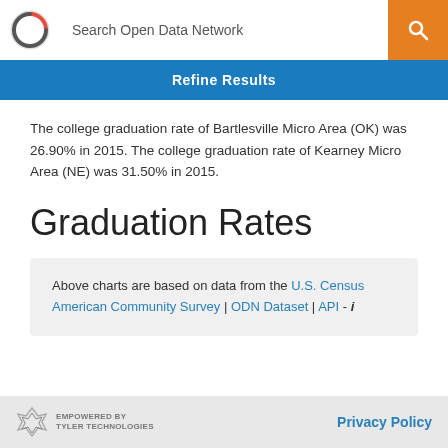Search Open Data Network
Refine Results
The college graduation rate of Bartlesville Micro Area (OK) was 26.90% in 2015. The college graduation rate of Kearney Micro Area (NE) was 31.50% in 2015.
Graduation Rates
Above charts are based on data from the U.S. Census American Community Survey | ODN Dataset | API -
EMPOWERED BY TYLER TECHNOLOGIES   Privacy Policy